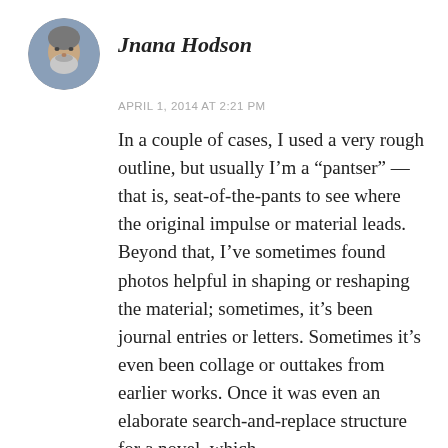[Figure (photo): Circular avatar photo of an older bearded man]
Jnana Hodson
APRIL 1, 2014 AT 2:21 PM
In a couple of cases, I used a very rough outline, but usually I'm a “pantser” — that is, seat-of-the-pants to see where the original impulse or material leads.
Beyond that, I’ve sometimes found photos helpful in shaping or reshaping the material; sometimes, it’s been journal entries or letters. Sometimes it’s even been collage or outtakes from earlier works. Once it was even an elaborate search-and-replace structure for a novel, which